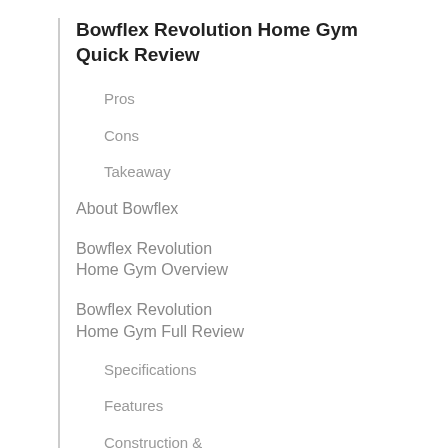Bowflex Revolution Home Gym Quick Review
Pros
Cons
Takeaway
About Bowflex
Bowflex Revolution Home Gym Overview
Bowflex Revolution Home Gym Full Review
Specifications
Features
Construction & Design